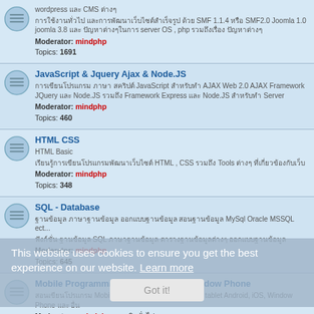wordpress และ CMS ต่างๆ
การใช้งานทั่วไป และการพัฒนาเว็บไซต์สำเร็จรูป ด้วย SMF 1.1.4 หรือ SMF2.0 Joomla 1.0 joomla 3.8 และ ปัญหาต่างๆในการ server OS , php รวมถึงเรื่อง ปัญหาต่างๆ
Moderator: mindphp
Topics: 1691
JavaScript & Jquery Ajax & Node.JS
การเขียนโปรแกรม ภาษา สคริปต์ JavaScript สำหรับทำ AJAX Web 2.0 AJAX Framework JQuery และ Node.JS รวมถึง Framework Express และ Node.JS สำหรับทำ Server
Moderator: mindphp
Topics: 460
HTML CSS
HTML Basic
เรียนรู้การเขียนโปรแกรมพัฒนาเว็บไซต์ HTML , CSS รวมถึง Tools ต่างๆ ที่เกี่ยวข้องกับเว็บ
Moderator: mindphp
Topics: 348
SQL - Database
ฐานข้อมูล ภาษาฐานข้อมูล ออกแบบฐานข้อมูล สอนฐานข้อมูล MySql Oracle MSSQL ect...
ฟังก์ชั่น ฐานข้อมูล SQL ภาษาฐานข้อมูล ตารางฐานข้อมูลต่างๆ ออกแบบฐานข้อมูล
Moderator: mindphp
Topics: 645
Mobile Programming - Android, iOS, Window Phone
สอนเขียนโปรแกรม Mobile สร้าง App บน SmartMobile , tablet Android, iOS, Window Phone และ อื่น
Moderators: mindphp, สมาชิกทั่วไป
Topics: 142
งาน - หา งาน ด้านคอมพิวเตอร์
บริการรับทำเว็บไซต์ รับงานทางด้าน it ทุกชนิด รับเขียนโปรแกรม รับสร้าง เว็บไซต์ หางาน ด้าน it และ งาน ด้านคอมพิวเตอร์ ทุกชนิด
Moderators: mindphp, สมาชิกทั่วไป
Topics: 1026
This website uses cookies to ensure you get the best experience on our website. Learn more
Got it!